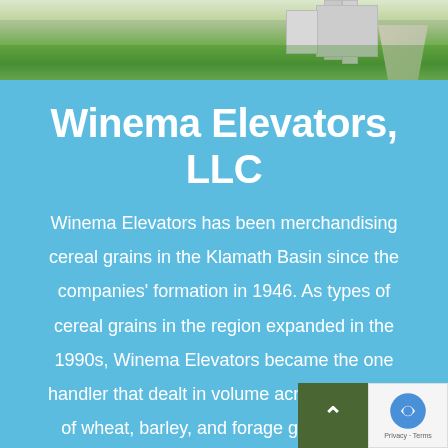[Figure (photo): Photograph of a grain elevator facility with large green cornfields and a road leading to the buildings, sky visible above]
Winema Elevators, LLC
Winema Elevators has been merchandising cereal grains in the Klamath Basin since the companies' formation in 1946. As types of cereal grains in the region expanded in the 1990s, Winema Elevators became the one handler that dealt in volume across all types of wheat, barley, and forage grains for th...